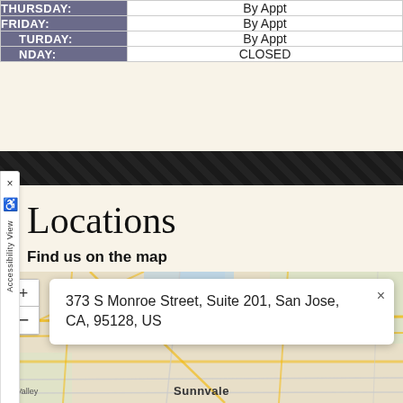| Day | Hours |
| --- | --- |
| THURSDAY: | By Appt |
| FRIDAY: | By Appt |
| SATURDAY: | By Appt |
| SUNDAY: | CLOSED |
Locations
Find us on the map
[Figure (map): Interactive map showing location at 373 S Monroe Street, Suite 201, San Jose, CA, 95128, US with an address popup and zoom controls. Map shows road network around San Jose/Sunnyvale area.]